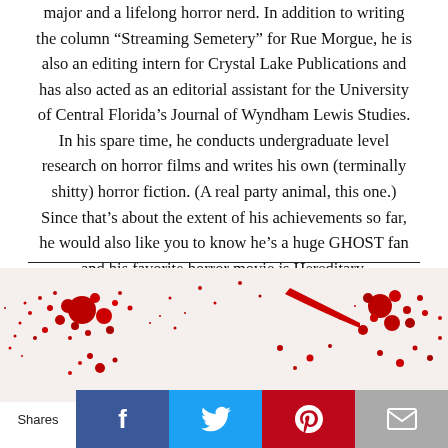major and a lifelong horror nerd. In addition to writing the column “Streaming Semetery” for Rue Morgue, he is also an editing intern for Crystal Lake Publications and has also acted as an editorial assistant for the University of Central Florida’s Journal of Wyndham Lewis Studies. In his spare time, he conducts undergraduate level research on horror films and writes his own (terminally shitty) horror fiction. (A real party animal, this one.) Since that’s about the extent of his achievements so far, he would also like you to know he’s a huge GHOST fan and his favorite horror movie is Hereditary.
[Figure (illustration): Blood splatter decorative image on light background]
Shares